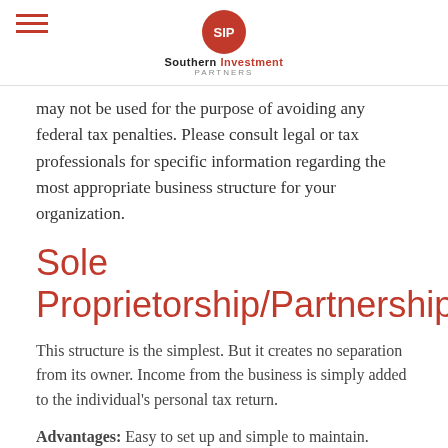SIP Southern Investment Partners
may not be used for the purpose of avoiding any federal tax penalties. Please consult legal or tax professionals for specific information regarding the most appropriate business structure for your organization.
Sole Proprietorship/Partnership
This structure is the simplest. But it creates no separation from its owner. Income from the business is simply added to the individual's personal tax return.
Advantages: Easy to set up and simple to maintain.
Disadvantages: Owners are personally liable for the business' financial obligations, thus, exposing their personal assets (house, savings, etc.). It does not offer the